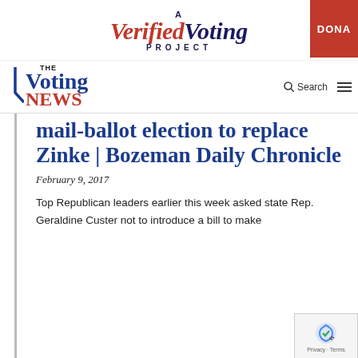[Figure (logo): A Verified Voting Project logo with red and dark blue text, and a red DONATE button on the right]
[Figure (logo): The Voting News logo with dark blue 'Voting' and red 'NEWS' in serif font, with search and hamburger menu icons]
mail-ballot election to replace Zinke | Bozeman Daily Chronicle
February 9, 2017
Top Republican leaders earlier this week asked state Rep. Geraldine Custer not to introduce a bill to make